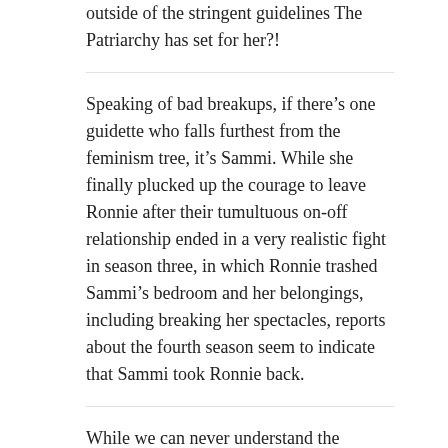outside of the stringent guidelines The Patriarchy has set for her?!
Speaking of bad breakups, if there’s one guidette who falls furthest from the feminism tree, it’s Sammi. While she finally plucked up the courage to leave Ronnie after their tumultuous on-off relationship ended in a very realistic fight in season three, in which Ronnie trashed Sammi’s bedroom and her belongings, including breaking her spectacles, reports about the fourth season seem to indicate that Sammi took Ronnie back.
While we can never understand the dynamics of each individual abusive relationship, and feminism can’t realistically be applied to them when a woman (sometimes a man, but mostly women) has had all of her resources—family, friends, employment, finances, access to a car etc. —taken away from her and therefore has limited means to escape, Ronnie and Sammi’s relationship may have some